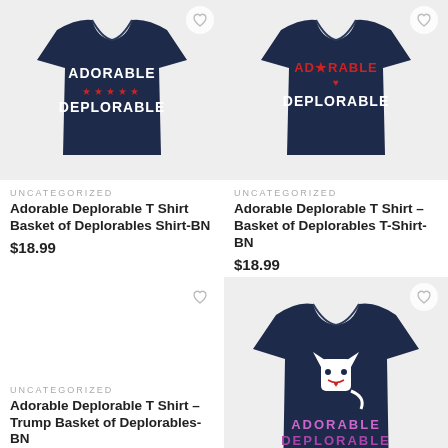[Figure (photo): Navy blue t-shirt with 'ADORABLE ★★★★★ DEPLORABLE' text in white and red]
UNCATEGORIZED
Adorable Deplorable T Shirt Basket of Deplorables Shirt-BN
$18.99
[Figure (photo): Navy blue t-shirt with patriotic 'ADORABLE DEPLORABLE' text with stars and heart]
UNCATEGORIZED
Adorable Deplorable T Shirt – Basket of Deplorables T-Shirt-BN
$18.99
UNCATEGORIZED
Adorable Deplorable T Shirt – Trump Basket of Deplorables-BN
$18.99
[Figure (photo): Navy blue t-shirt with cartoon cat and 'ADORABLE DEPLORABLE TRUMP' text in pink/white]